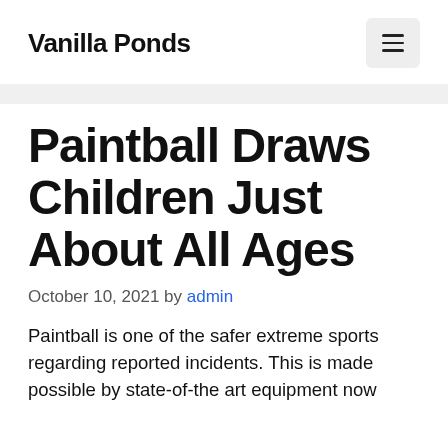Vanilla Ponds
Paintball Draws Children Just About All Ages
October 10, 2021 by admin
Paintball is one of the safer extreme sports regarding reported incidents. This is made possible by state-of-the art equipment now